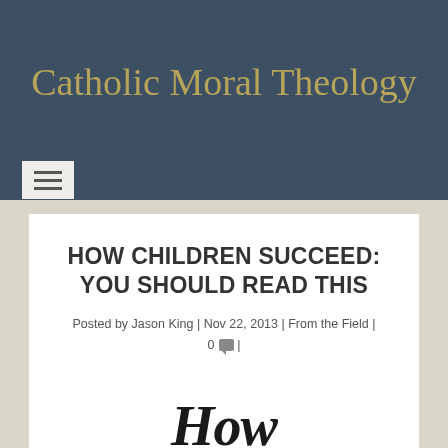Catholic Moral Theology
HOW CHILDREN SUCCEED: YOU SHOULD READ THIS
Posted by Jason King | Nov 22, 2013 | From the Field | 0 |
[Figure (other): Partial view of a book cover showing italic text 'How' in large serif font]